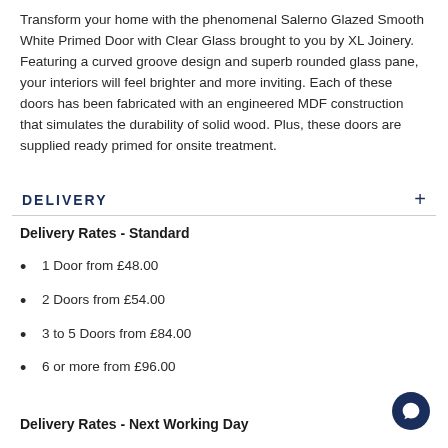Transform your home with the phenomenal Salerno Glazed Smooth White Primed Door with Clear Glass brought to you by XL Joinery. Featuring a curved groove design and superb rounded glass pane, your interiors will feel brighter and more inviting. Each of these doors has been fabricated with an engineered MDF construction that simulates the durability of solid wood. Plus, these doors are supplied ready primed for onsite treatment.
DELIVERY +
Delivery Rates - Standard
1 Door from £48.00
2 Doors from £54.00
3 to 5 Doors from £84.00
6 or more from £96.00
Delivery Rates - Next Working Day